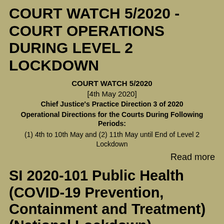COURT WATCH 5/2020 - COURT OPERATIONS DURING LEVEL 2 LOCKDOWN
COURT WATCH 5/2020
[4th May 2020]
Chief Justice's Practice Direction 3 of 2020
Operational Directions for the Courts During Following Periods:
(1) 4th to 10th May and (2) 11th May until End of Level 2 Lockdown
Read more
SI 2020-101 Public Health (COVID-19 Prevention, Containment and Treatment) (National Lockdown)